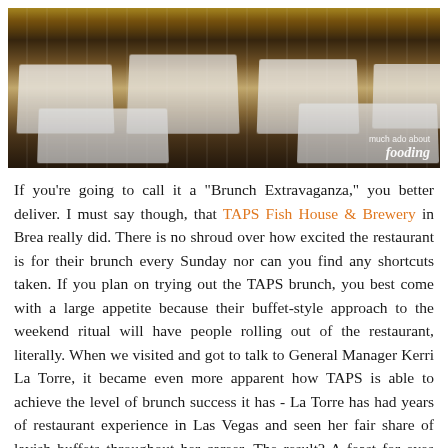[Figure (photo): Interior of TAPS Fish House & Brewery restaurant showing dining room with white tablecloths on dark wood tables, wine glasses, and wooden chairs. Watermark reads 'much ado about fooding' in bottom right corner.]
If you're going to call it a "Brunch Extravaganza," you better deliver. I must say though, that TAPS Fish House & Brewery in Brea really did. There is no shroud over how excited the restaurant is for their brunch every Sunday nor can you find any shortcuts taken. If you plan on trying out the TAPS brunch, you best come with a large appetite because their buffet-style approach to the weekend ritual will have people rolling out of the restaurant, literally. When we visited and got to talk to General Manager Kerri La Torre, it became even more apparent how TAPS is able to achieve the level of brunch success it has - La Torre has had years of restaurant experience in Las Vegas and seen her fair share of lavish buffets throughout her career. The result? A feast for eyes and stomachs right in the heart of downtown Brea - try it if you dare.